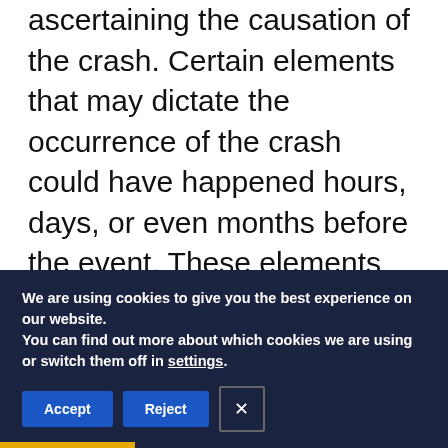ascertaining the causation of the crash. Certain elements that may dictate the occurrence of the crash could have happened hours, days, or even months before the event. These elements can include things like the driver's training and experience level, the design and manufacturing process of the vehicle, the road and weather conditions leading up to the crash, and the surrounding traffic signals and signage.
We are using cookies to give you the best experience on our website.
You can find out more about which cookies we are using or switch them off in settings.